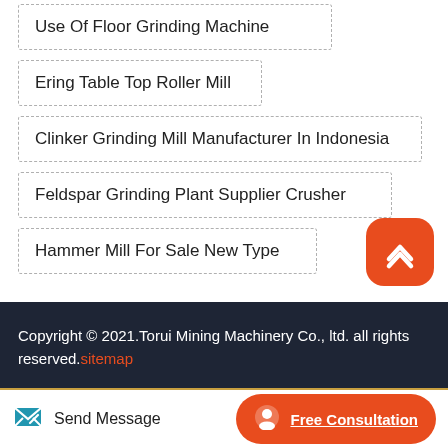Use Of Floor Grinding Machine
Ering Table Top Roller Mill
Clinker Grinding Mill Manufacturer In Indonesia
Feldspar Grinding Plant Supplier Crusher
Hammer Mill For Sale New Type
[Figure (other): Orange scroll-to-top button with upward chevron icon]
Copyright © 2021.Torui Mining Machinery Co., ltd. all rights reserved.sitemap
Send Message   Free Consultation